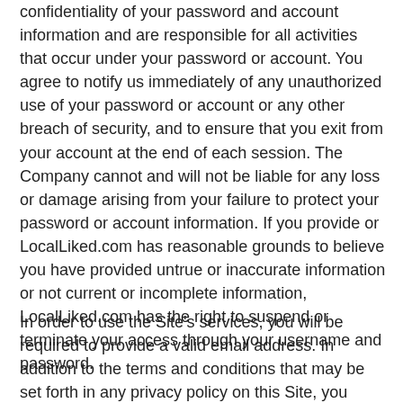confidentiality of your password and account information and are responsible for all activities that occur under your password or account. You agree to notify us immediately of any unauthorized use of your password or account or any other breach of security, and to ensure that you exit from your account at the end of each session. The Company cannot and will not be liable for any loss or damage arising from your failure to protect your password or account information. If you provide or LocalLiked.com has reasonable grounds to believe you have provided untrue or inaccurate information or not current or incomplete information, LocalLiked.com has the right to suspend or terminate your access through your username and password.
In order to use the Site's services, you will be required to provide a valid email address. In addition to the terms and conditions that may be set forth in any privacy policy on this Site, you understand and agree